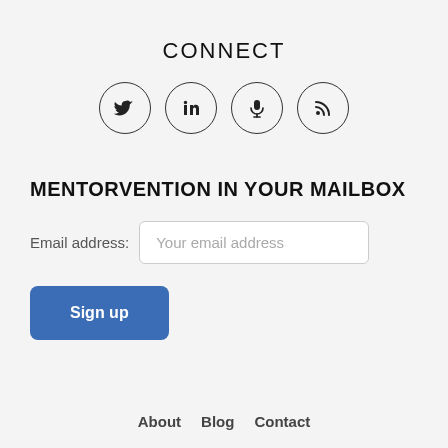CONNECT
[Figure (illustration): Four social media icon circles in a row: Twitter bird, LinkedIn 'in', Podcast microphone, RSS feed symbol]
MENTORVENTION IN YOUR MAILBOX
Email address: Your email address
Sign up
About   Blog   Contact